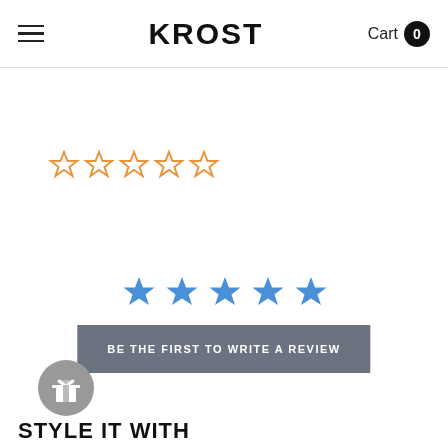KROST — Cart 0
[Figure (other): Five empty orange star rating icons]
[Figure (other): Five filled blue star rating icons]
BE THE FIRST TO WRITE A REVIEW
[Figure (other): Gray circular gift/reward icon button]
STYLE IT WITH